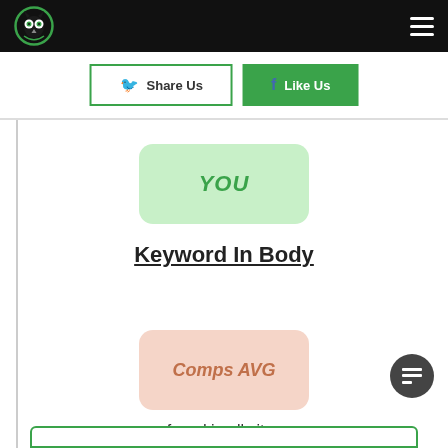[Figure (logo): Owl logo in green circle on black header bar]
Share Us
Like Us
YOU
Keyword In Body
Comps AVG
found in all sites